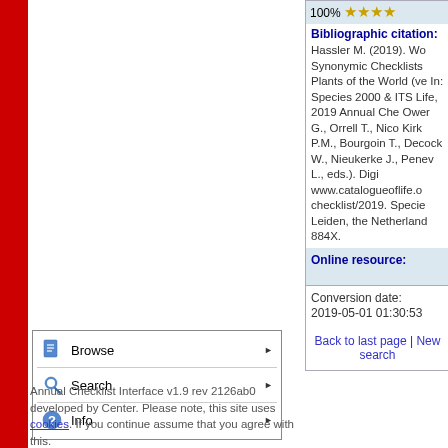100% ★★★★
| Field | Value |
| --- | --- |
| Bibliographic citation: | Hassler M. (2019). Wo Synonymic Checklists Plants of the World (ve In: Species 2000 & ITS Life, 2019 Annual Che Ower G., Orrell T., Nico Kirk P.M., Bourgoin T., Decock W., Nieukerke J., Penev L., eds.). Digi www.catalogueoflife.o checklist/2019. Specie Leiden, the Netherland 884X. |
| Online resource: |  |
| Conversion date: | 2019-05-01 01:30:53 |
Browse
Search
Info
Back to last page | New search
Annual Checklist Interface v1.9 rev 2126ab0 developed by Center. Please note, this site uses cookies. If you continue assume that you agree with this.